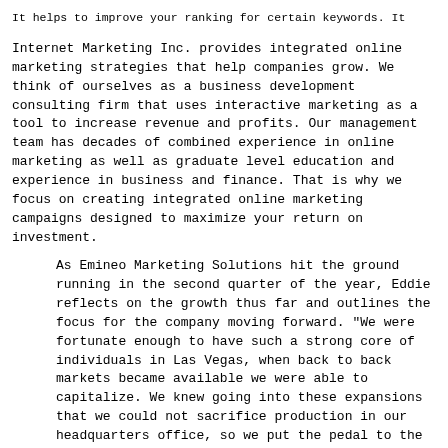It helps to improve your ranking for certain keywords. It
Internet Marketing Inc. provides integrated online marketing strategies that help companies grow. We think of ourselves as a business development consulting firm that uses interactive marketing as a tool to increase revenue and profits. Our management team has decades of combined experience in online marketing as well as graduate level education and experience in business and finance. That is why we focus on creating integrated online marketing campaigns designed to maximize your return on investment.
As Emineo Marketing Solutions hit the ground running in the second quarter of the year, Eddie reflects on the growth thus far and outlines the focus for the company moving forward. "We were fortunate enough to have such a strong core of individuals in Las Vegas, when back to back markets became available we were able to capitalize. We knew going into these expansions that we could not sacrifice production in our headquarters office, so we put the pedal to the